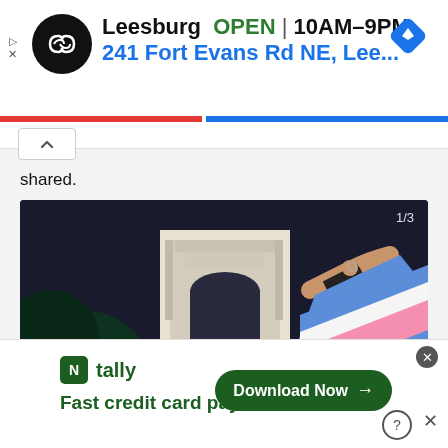[Figure (screenshot): Google Maps ad banner showing Leesburg store location: OPEN 10AM-9PM, 241 Fort Evans Rd NE, Lee... with infinity-loop logo and navigation diamond icon]
shared.
[Figure (photo): Night-time photo of a white arch monument/gate with a hand holding a transgender pride flag (blue, pink, white stripes) with 'infolinks' watermark badge and '1/3' counter]
[Figure (screenshot): Infolinks advertisement for Tally app: 'Fast credit card payoff' with Download Now button, close X and help icons]